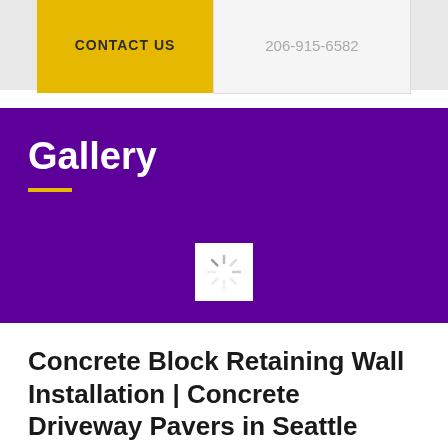CONTACT US | 206-915-6582
Gallery
[Figure (screenshot): Loading spinner icon — white square with spinning loader graphic on purple background]
Concrete Block Retaining Wall Installation | Concrete Driveway Pavers in Seattle